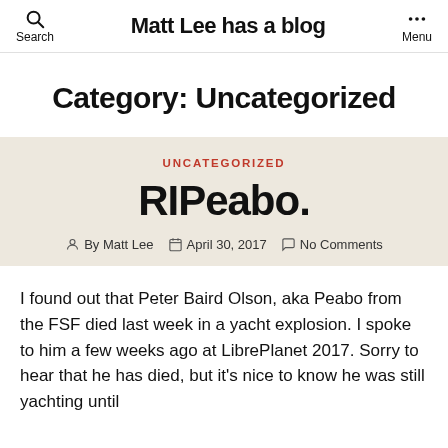Matt Lee has a blog
Category: Uncategorized
UNCATEGORIZED
RIPeabo.
By Matt Lee   April 30, 2017   No Comments
I found out that Peter Baird Olson, aka Peabo from the FSF died last week in a yacht explosion. I spoke to him a few weeks ago at LibrePlanet 2017. Sorry to hear that he has died, but it's nice to know he was still yachting until